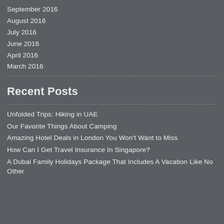September 2016
August 2016
July 2016
June 2016
April 2016
March 2016
Recent Posts
Unfolded Trips: Hiking in UAE
Our Favorite Things About Camping
Amazing Hotel Deals in London You Won't Want to Miss
How Can I Get Travel Insurance In Singapore?
A Dubai Family Holidays Package That Includes A Vacation Like No Other